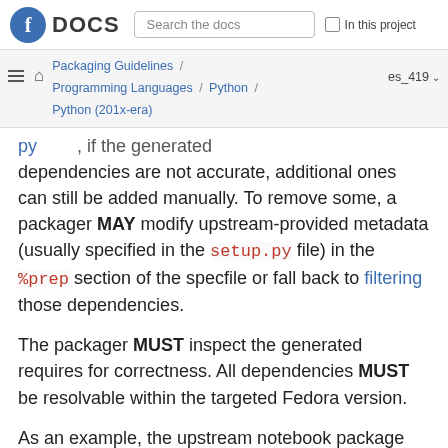Fedora DOCS | Search the docs | In this project
Packaging Guidelines / Programming Languages / Python / Python (201x-era) | es_419
...py ..., if the generated dependencies are not accurate, additional ones can still be added manually. To remove some, a packager MAY modify upstream-provided metadata (usually specified in the setup.py file) in the %prep section of the specfile or fall back to filtering those dependencies.
The packager MUST inspect the generated requires for correctness. All dependencies MUST be resolvable within the targeted Fedora version.
As an example, the upstream notebook package has (as of version 5.6.0):